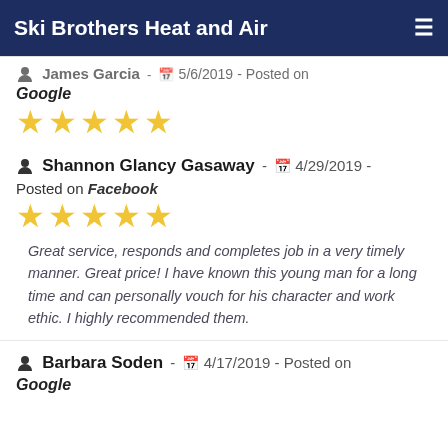Ski Brothers Heat and Air
James Garcia - 5/6/2019 - Posted on Google ★★★★★
Shannon Glancy Gasaway - 4/29/2019 - Posted on Facebook ★★★★★
Great service, responds and completes job in a very timely manner. Great price! I have known this young man for a long time and can personally vouch for his character and work ethic. I highly recommended them.
Barbara Soden - 4/17/2019 - Posted on Google